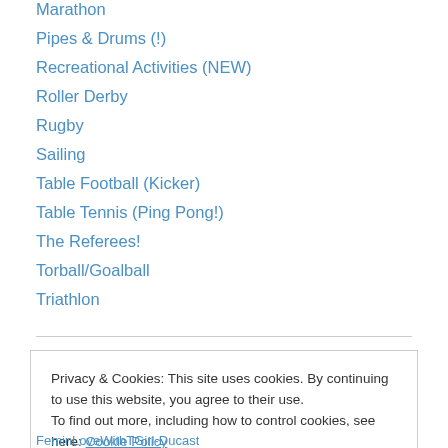Marathon
Pipes & Drums (!)
Recreational Activities (NEW)
Roller Derby
Rugby
Sailing
Table Football (Kicker)
Table Tennis (Ping Pong!)
The Referees!
Torball/Goalball
Triathlon
Privacy & Cookies: This site uses cookies. By continuing to use this website, you agree to their use. To find out more, including how to control cookies, see here: Cookie Policy
Close and accept
FeminLoveWithTGirl-Ducast